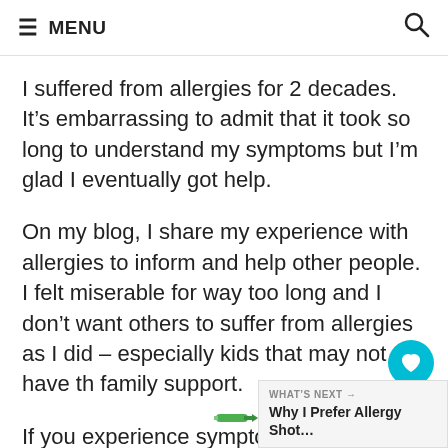≡ MENU
I suffered from allergies for 2 decades. It's embarrassing to admit that it took so long to understand my symptoms but I'm glad I eventually got help.
On my blog, I share my experience with allergies to inform and help other people. I felt miserable for way too long and I don't want others to suffer from allergies as I did – especially kids that may not have the family support.
If you experience symptoms that mine I'd encourage you to get help and visit an allergist (not a GP, not a
WHAT'S NEXT → Why I Prefer Allergy Shot...